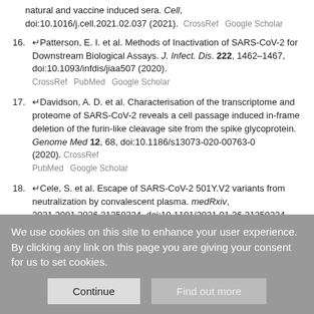natural and vaccine induced sera. Cell, doi:10.1016/j.cell.2021.02.037 (2021). CrossRef Google Scholar
16. Patterson, E. I. et al. Methods of Inactivation of SARS-CoV-2 for Downstream Biological Assays. J. Infect. Dis. 222, 1462–1467, doi:10.1093/infdis/jiaa507 (2020). CrossRef PubMed Google Scholar
17. Davidson, A. D. et al. Characterisation of the transcriptome and proteome of SARS-CoV-2 reveals a cell passage induced in-frame deletion of the furin-like cleavage site from the spike glycoprotein. Genome Med 12, 68, doi:10.1186/s13073-020-00763-0 (2020). CrossRef PubMed Google Scholar
18. Cele, S. et al. Escape of SARS-CoV-2 501Y.V2 variants from neutralization by convalescent plasma. medRxiv, 2021.2001.2026.21250224, doi:10.1101/2021.01.26.21250224 (2021). Abstract/FREE Full Text Google Scholar
We use cookies on this site to enhance your user experience. By clicking any link on this page you are giving your consent for us to set cookies.